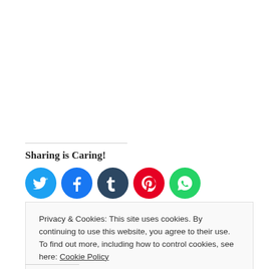Sharing is Caring!
[Figure (illustration): Row of circular social media share buttons: Twitter (blue bird), Facebook (blue f), Tumblr (dark blue t), Pinterest (red P), WhatsApp (green phone)]
Privacy & Cookies: This site uses cookies. By continuing to use this website, you agree to their use.
To find out more, including how to control cookies, see here: Cookie Policy
Close and accept